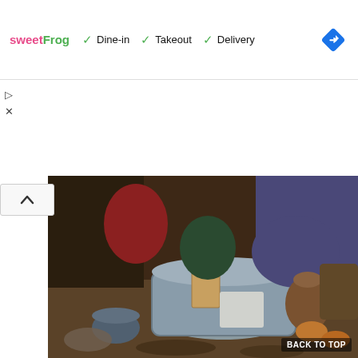[Figure (screenshot): Web UI header bar showing sweetFrog logo and service options: Dine-in, Takeout, Delivery with green checkmarks, and a blue diamond navigation icon on the right]
[Figure (photo): A historical or artistic photo showing people washing clothes in a large galvanized metal tub with a washboard, surrounded by chickens and various rustic household items on a dirt floor]